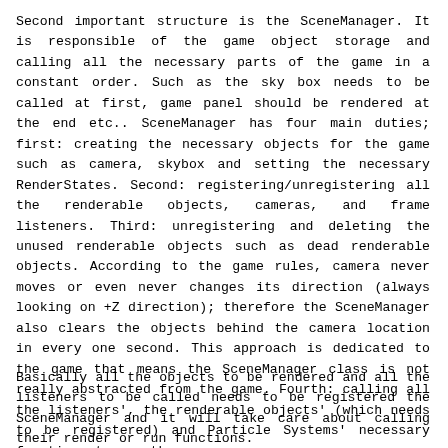Second important structure is the SceneManager. It is responsible of the game object storage and calling all the necessary parts of the game in a constant order. Such as the sky box needs to be called at first, game panel should be rendered at the end etc.. SceneManager has four main duties; first: creating the necessary objects for the game such as camera, skybox and setting the necessary RenderStates. Second: registering/unregistering all the renderable objects, cameras, and frame listeners. Third: unregistering and deleting the unused renderable objects such as dead renderable objects. According to the game rules, camera never moves or even never changes its direction (always looking on +Z direction); therefore the SceneManager also clears the objects behind the camera location in every one second. This approach is dedicated to the game that means the SceneManager class is not really abstracted from the game. Fourth: calling all the listeners', the renderable objects' (which needs to be registered) and Particle Systems' necessary functions to run them.
Basically all the objects to be rendered and all the listeners to be called needs to be registered the SceneManager and it will take care about calling their render or run functions.